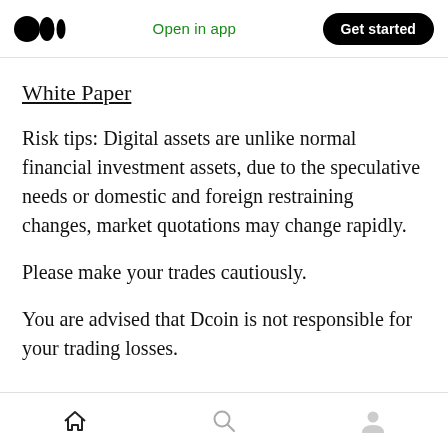Medium logo | Open in app | Get started
White Paper
Risk tips: Digital assets are unlike normal financial investment assets, due to the speculative needs or domestic and foreign restraining changes, market quotations may change rapidly.
Please make your trades cautiously.
You are advised that Dcoin is not responsible for your trading losses.
Home | Search | Profile icons